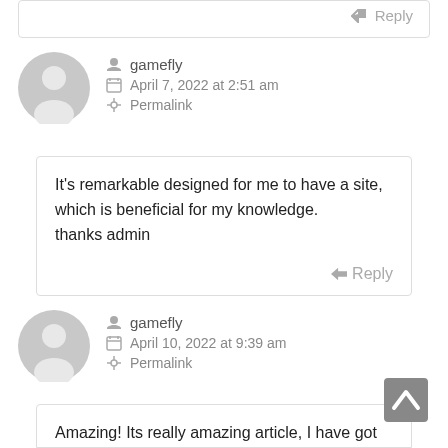Reply
gamefly
April 7, 2022 at 2:51 am
Permalink
It's remarkable designed for me to have a site, which is beneficial for my knowledge.
thanks admin
Reply
gamefly
April 10, 2022 at 9:39 am
Permalink
Amazing! Its really amazing article, I have got much clear idea